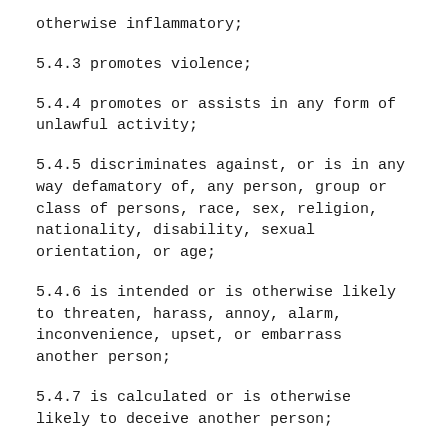otherwise inflammatory;
5.4.3 promotes violence;
5.4.4 promotes or assists in any form of unlawful activity;
5.4.5 discriminates against, or is in any way defamatory of, any person, group or class of persons, race, sex, religion, nationality, disability, sexual orientation, or age;
5.4.6 is intended or is otherwise likely to threaten, harass, annoy, alarm, inconvenience, upset, or embarrass another person;
5.4.7 is calculated or is otherwise likely to deceive another person;